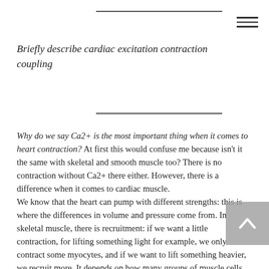Briefly describe cardiac excitation contraction coupling
Why do we say Ca2+ is the most important thing when it comes to heart contraction? At first this would confuse me because isn't it the same with skeletal and smooth muscle too? There is no contraction without Ca2+ there either. However, there is a difference when it comes to cardiac muscle.
We know that the heart can pump with different strengths: this is where the differences in volume and pressure come from. In skeletal muscle, there is recruitment: if we want a little contraction, for lifting something light for example, we only contract some myocytes, and if we want to lift something heavier, we recruit more. It depends on how many groups of muscle cells we have.